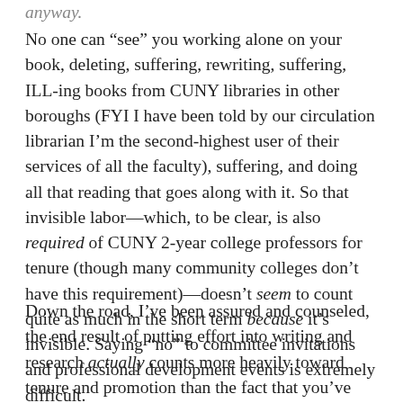anyway.
No one can “see” you working alone on your book, deleting, suffering, rewriting, suffering, ILL-ing books from CUNY libraries in other boroughs (FYI I have been told by our circulation librarian I’m the second-highest user of their services of all the faculty), suffering, and doing all that reading that goes along with it. So that invisible labor—which, to be clear, is also required of CUNY 2-year college professors for tenure (though many community colleges don’t have this requirement)—doesn’t seem to count quite as much in the short term because it’s invisible. Saying “no” to committee invitations and professional development events is extremely difficult.
Down the road, I’ve been assured and counseled, the end result of putting effort into writing and research actually counts more heavily toward tenure and promotion than the fact that you’ve attended 63 meetings in a semester. But the